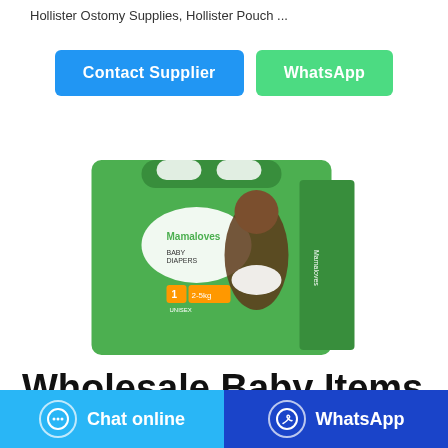Hollister Ostomy Supplies, Hollister Pouch ...
Contact Supplier
WhatsApp
[Figure (photo): Mamaloves Baby Diapers product package - green box with a baby on it, Size 1, 2-5kg, Unisex]
Wholesale Baby Items and Baby Accessories, Bab...
Chat online
WhatsApp